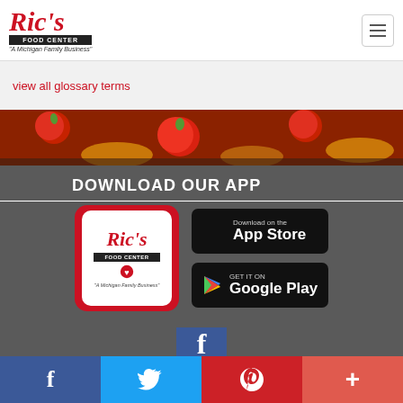[Figure (logo): Ric's Food Center logo with tagline 'A Michigan Family Business']
view all glossary terms
[Figure (photo): Food photography strip showing tomatoes and grilled foods]
DOWNLOAD OUR APP
[Figure (logo): Ric's Food Center app icon on red background]
[Figure (screenshot): Download on the App Store badge]
[Figure (screenshot): Get it on Google Play badge]
[Figure (logo): Facebook logo icon]
[Figure (infographic): Social media share bar with Facebook, Twitter, Pinterest, and More buttons]